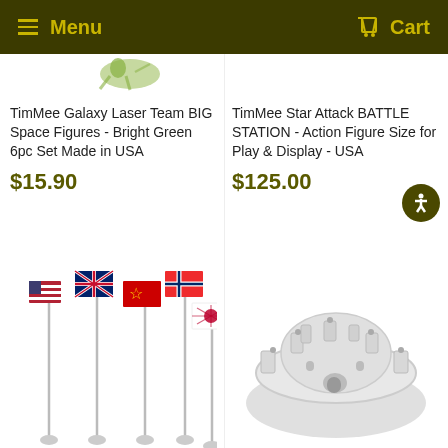Menu  Cart
TimMee Galaxy Laser Team BIG Space Figures - Bright Green 6pc Set Made in USA
$15.90
TimMee Star Attack BATTLE STATION - Action Figure Size for Play & Display - USA
$125.00
[Figure (photo): Green space figures (partial view at top)]
[Figure (photo): Five WWII nation flags on poles (USA, UK, USSR, Norway/cross flag, Japan rising sun) with round bases]
[Figure (photo): Grey circular castle/fort playset model with figures on top]